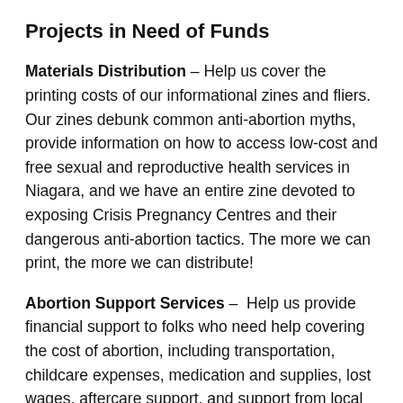Projects in Need of Funds
Materials Distribution – Help us cover the printing costs of our informational zines and fliers. Our zines debunk common anti-abortion myths, provide information on how to access low-cost and free sexual and reproductive health services in Niagara, and we have an entire zine devoted to exposing Crisis Pregnancy Centres and their dangerous anti-abortion tactics. The more we can print, the more we can distribute!
Abortion Support Services – Help us provide financial support to folks who need help covering the cost of abortion, including transportation, childcare expenses, medication and supplies, lost wages, aftercare support, and support from local abortion doctors.